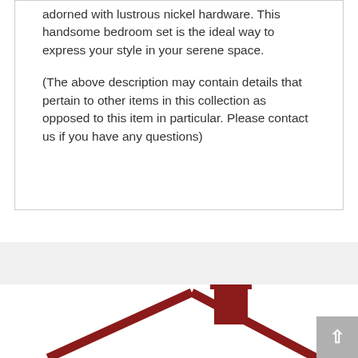adorned with lustrous nickel hardware. This handsome bedroom set is the ideal way to express your style in your serene space.

(The above description may contain details that pertain to other items in this collection as opposed to this item in particular. Please contact us if you have any questions)
[Figure (logo): Partial house roof illustration with dark red/maroon roofline and chimney, appearing to be a home furnishings or real estate company logo at the bottom of the page. A gray back-to-top button with an upward arrow is visible in the bottom right corner.]